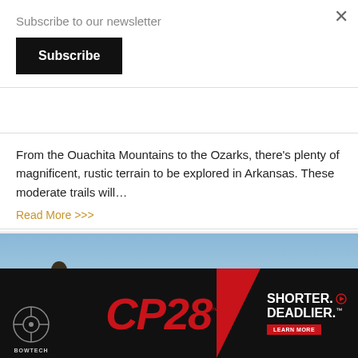×
Subscribe to our newsletter
Subscribe
From the Ouachita Mountains to the Ozarks, there’s plenty of magnificent, rustic terrain to be explored in Arkansas. These moderate trails will…
Read More >>>
[Figure (photo): An adult with a backpack points into the distance while a child in a yellow shirt stands nearby on an elevated outdoor overlook with a scenic sky-and-horizon backdrop.]
[Figure (advertisement): Bowtech CP28 bow advertisement — black background with red CP28 logo text, SHORTER. DEADLIER. tagline, and LEARN MORE button.]